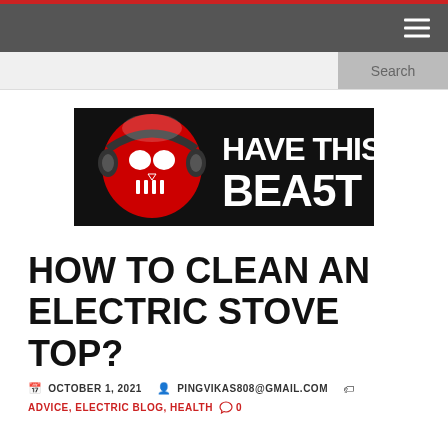Navigation bar with hamburger menu
[Figure (screenshot): Search bar with Search button on the right]
[Figure (logo): Have This Beast logo — black background with red skull wearing headphones and white graffiti-style text 'HAVE THIS BEAST']
HOW TO CLEAN AN ELECTRIC STOVE TOP?
OCTOBER 1, 2021  PINGVIKAS808@GMAIL.COM  ADVICE, ELECTRIC BLOG, HEALTH  0